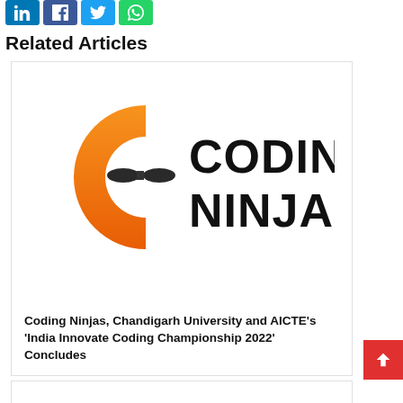[Figure (logo): Social share buttons: LinkedIn (blue), Facebook (dark blue), Twitter (light blue), WhatsApp (green)]
Related Articles
[Figure (logo): Coding Ninjas logo — orange letter C with ninja face and bold black text 'CODING NINJAS']
Coding Ninjas, Chandigarh University and AICTE’s ‘India Innovate Coding Championship 2022’ Concludes
[Figure (photo): Warner Bros. Discovery promotional image with Discovery badge, dark purple background and person with glasses]